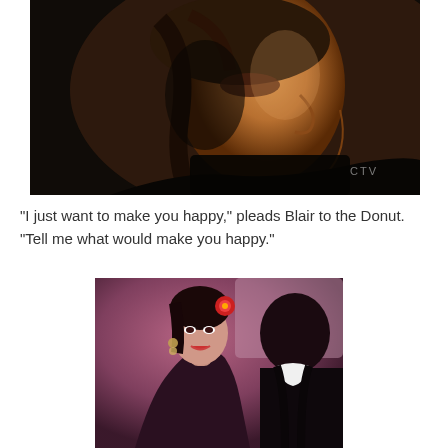[Figure (photo): Dark-toned close-up side profile of a man with brown hair, dramatic lighting, CTV watermark in bottom right corner]
“I just want to make you happy,” pleads Blair to the Donut. “Tell me what would make you happy.”
[Figure (photo): Woman with dark hair and red flower hair accessory wearing earrings, speaking to a man in a dark suit, purple/pink toned scene from a TV show]